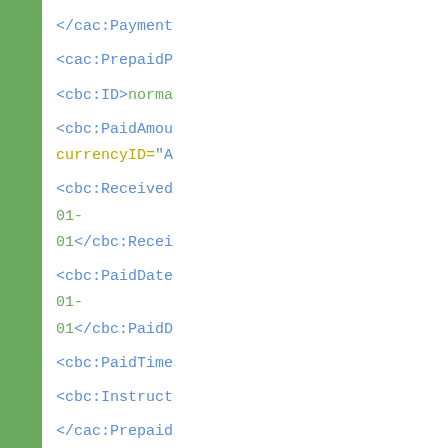</cac:Payment
<cac:PrepaidP
<cbc:ID>norma
<cbc:PaidAmou currencyID="A
<cbc:Received 01- 01</cbc:Recei
<cbc:PaidDate 01- 01</cbc:PaidD
<cbc:PaidTime
<cbc:Instruct
</cac:Prepaid
<cac:Allowanc